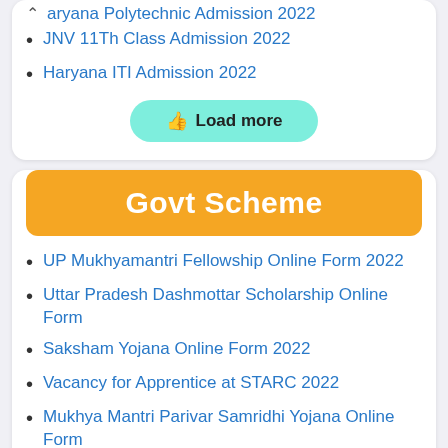aryana Polytechnic Admission 2022
JNV 11Th Class Admission 2022
Haryana ITI Admission 2022
Load more
Govt Scheme
UP Mukhyamantri Fellowship Online Form 2022
Uttar Pradesh Dashmottar Scholarship Online Form
Saksham Yojana Online Form 2022
Vacancy for Apprentice at STARC 2022
Mukhya Mantri Parivar Samridhi Yojana Online Form